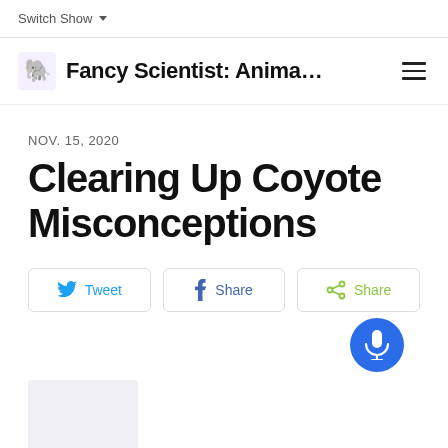Switch Show
Fancy Scientist: Anima…
NOV. 15, 2020
Clearing Up Coyote Misconceptions
Tweet | Share | Share